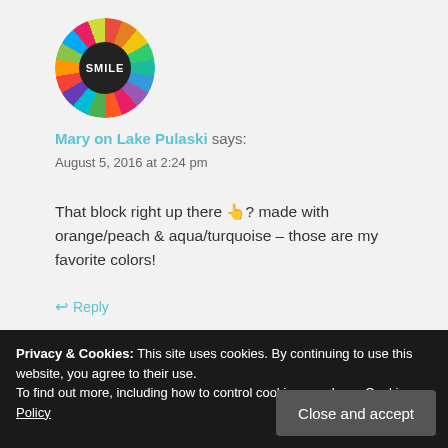[Figure (illustration): Circular avatar with colorful patchwork/quilt pattern segments radiating outward and a dark center circle with 'SMILE' text]
Mary on Lake Pulaski says:
August 5, 2016 at 2:24 pm
That block right up there 👆? made with orange/peach & aqua/turquoise – those are my favorite colors!
↩ Reply
Privacy & Cookies: This site uses cookies. By continuing to use this website, you agree to their use.
To find out more, including how to control cookies, see here: Cookie Policy
Close and accept